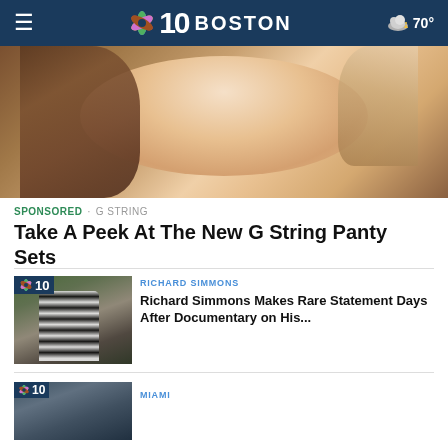NBC 10 BOSTON · 70°
[Figure (photo): Close-up photo of a smiling woman with long brown hair and white teeth against a light background]
SPONSORED · G STRING
Take A Peek At The New G String Panty Sets
[Figure (photo): Richard Simmons in a striped costume at an outdoor event, NBC 10 Boston badge overlay]
RICHARD SIMMONS
Richard Simmons Makes Rare Statement Days After Documentary on His...
[Figure (photo): Partial view of a man outdoors, NBC 10 Boston badge overlay]
MIAMI